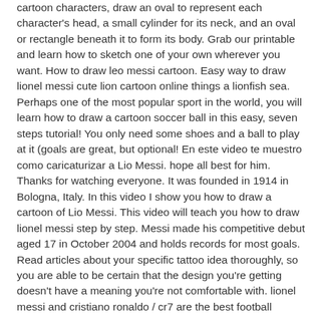cartoon characters, draw an oval to represent each character's head, a small cylinder for its neck, and an oval or rectangle beneath it to form its body. Grab our printable and learn how to sketch one of your own wherever you want. How to draw leo messi cartoon. Easy way to draw lionel messi cute lion cartoon online things a lionfish sea. Perhaps one of the most popular sport in the world, you will learn how to draw a cartoon soccer ball in this easy, seven steps tutorial! You only need some shoes and a ball to play at it (goals are great, but optional! En este video te muestro como caricaturizar a Lio Messi. hope all best for him. Thanks for watching everyone. It was founded in 1914 in Bologna, Italy. In this video I show you how to draw a cartoon of Lio Messi. This video will teach you how to draw lionel messi step by step. Messi made his competitive debut aged 17 in October 2004 and holds records for most goals. Read articles about your specific tattoo idea thoroughly, so you are able to be certain that the design you're getting doesn't have a meaning you're not comfortable with. lionel messi and cristiano ronaldo / cr7 are the best football players in decade, now